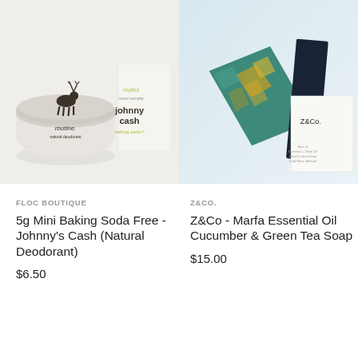[Figure (photo): Product photo showing a round clear jar of Routine natural deodorant with a deer logo, next to a small white box labeled 'routine. scent sampler. johnny cash baking soda free']
[Figure (photo): Product photo showing a teal/green soap bar with gold flecks next to a dark navy bar of soap and a white Z&Co. branded box/label]
FLOC BOUTIQUE
5g Mini Baking Soda Free - Johnny's Cash (Natural Deodorant)
$6.50
Z&CO.
Z&Co - Marfa Essential Oil Cucumber & Green Tea Soap
$15.00